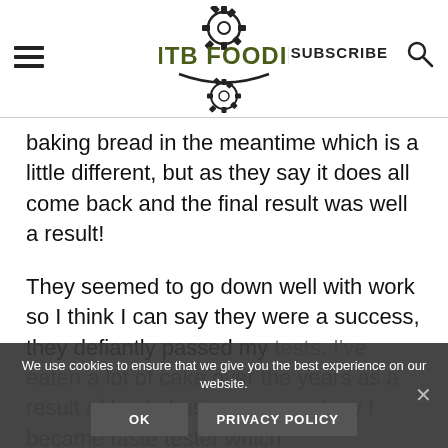MTB FOODIE | SUBSCRIBE
baking bread in the meantime which is a little different, but as they say it does all come back and the final result was well a result!
They seemed to go down well with work so I think I can say they were a success, they defiantly passed my tests. I've eaten a lot of cake over the years as a result of Lou's business, somehow I became taste tester which
We use cookies to ensure that we give you the best experience on our website.
OK   PRIVACY POLICY